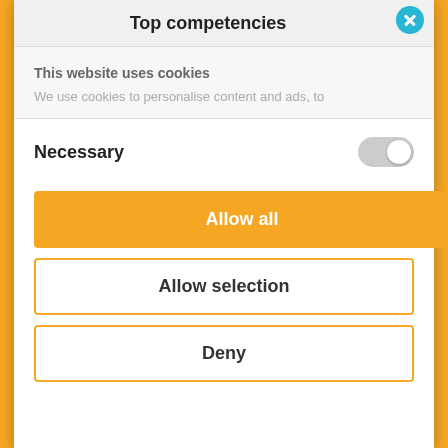Top competencies
This website uses cookies
We use cookies to personalise content and ads, to
Necessary
Allow all
Allow selection
Deny